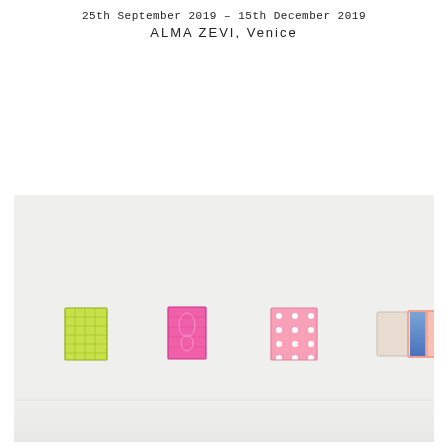25th September 2019 – 15th December 2019
ALMA ZEVI, Venice
[Figure (photo): Installation view of a gallery wall showing five small colorful rectangular artworks (paintings or objects) mounted on a white wall. From left to right: a yellow-green grid-patterned piece, a pink ornate piece, a pink piece with white dots, a beige/cream plain piece, and a piece with blue gradient and pink/orange border.]